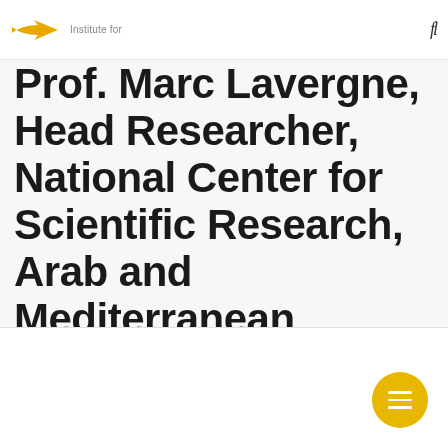Institute for
Prof. Marc Lavergne, Emeritus Head Researcher, National Center for Scientific Research, Arab and Mediterranean Studies Dept, University of Tours (France)